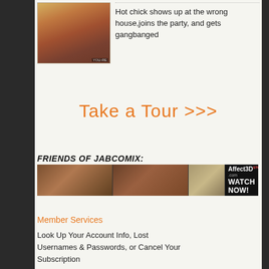[Figure (illustration): Animated/cartoon style illustration thumbnail with dotted border]
Hot chick shows up at the wrong house,joins the party, and gets gangbanged
Take a Tour >>>
FRIENDS OF JABCOMIX:
[Figure (photo): Affect3D Store banner advertisement with 'WATCH NOW!' text]
Member Services
Look Up Your Account Info, Lost Usernames & Passwords, or Cancel Your Subscription